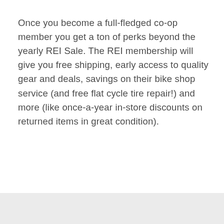Once you become a full-fledged co-op member you get a ton of perks beyond the yearly REI Sale. The REI membership will give you free shipping, early access to quality gear and deals, savings on their bike shop service (and free flat cycle tire repair!) and more (like once-a-year in-store discounts on returned items in great condition).